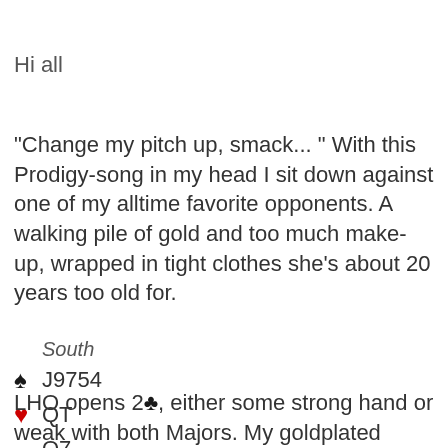Hi all
"Change my pitch up, smack... " With this Prodigy-song in my head I sit down against one of my alltime favorite opponents. A walking pile of gold and too much make-up, wrapped in tight clothes she’s about 20 years too old for.
South
♠ J9754
♥ QT
  Q7
♣ AQ62
LHO opens 2♣, either some strong hand or weak with both Majors. My goldplated RHO bids a preference 2♥ (no surprise with my ♠